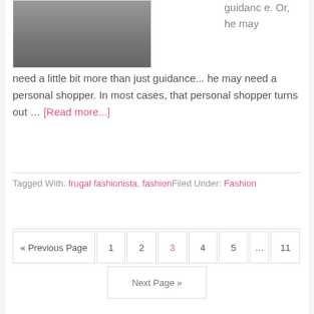[Figure (photo): Dark/blurred photo, likely of a wooden surface or table, shown partially at top left]
guidance. Or, he may need a little bit more than just guidance... he may need a personal shopper. In most cases, that personal shopper turns out ... [Read more...]
Tagged With: frugal fashionista, fashionFiled Under: Fashion
« Previous Page  1  2  3  4  5  ...  11
Next Page »